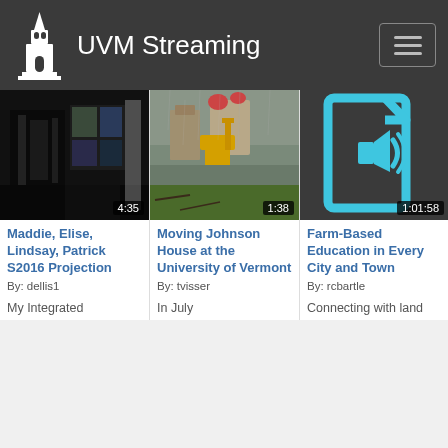UVM Streaming
[Figure (screenshot): Video thumbnail 1: dark scene with projected images, duration 4:35]
Maddie, Elise, Lindsay, Patrick S2016 Projection
By: dellis1
My Integrated
[Figure (photo): Video thumbnail 2: rainy street scene with yellow construction equipment and buildings, duration 1:38]
Moving Johnson House at the University of Vermont
By: tvisser
In July
[Figure (screenshot): Audio-only media icon: blue speaker on dark background, duration 1:01:58]
Farm-Based Education in Every City and Town
By: rcbartle
Connecting with land